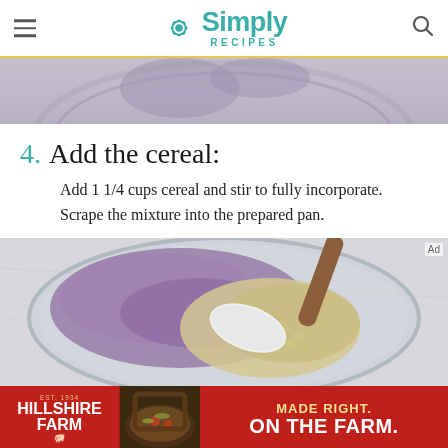Simply Recipes
[Figure (photo): Top portion of a glass bowl with purple/violet mixture visible from above, on a marble surface]
4. Add the cereal: Add 1 1/4 cups cereal and stir to fully incorporate. Scrape the mixture into the prepared pan.
[Figure (photo): Glass bowl viewed from above containing purple/violet cream mixture and rice cereal being stirred with a white spatula with wooden handle, on marble surface]
[Figure (photo): Hillshire Farm advertisement banner: red background with Hillshire Farm logo, food photo of skillet dish, and text MADE RIGHT. ON THE FARM.]